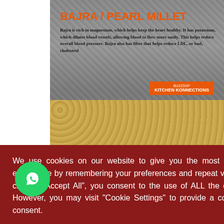BAJRA / PEARL MILLET
Bajra is rich in magnesium, which helps keep the heart healthy. It has potassium, which dilates blood vessels, allowing blood to flow more easily. This helps reduce overall blood pressure. Bajra also has fibre that helps reduce LDL, or bad, cholestrol
[Figure (screenshot): Kitchen Konnections badge/logo overlay on food image]
om
Save $1
We use cookies on our website to give you the most relevant experience by remembering your preferences and repeat visits. By clicking “Accept All”, you consent to the use of ALL the cookies. However, you may visit "Cookie Settings" to provide a controlled consent.
ie Settings
Accept All
Shop
My Account
Search